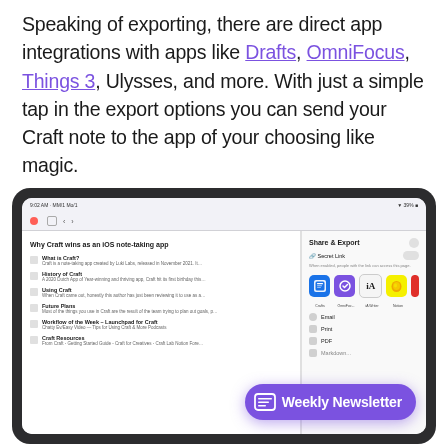Speaking of exporting, there are direct app integrations with apps like Drafts, OmniFocus, Things 3, Ulysses, and more. With just a simple tap in the export options you can send your Craft note to the app of your choosing like magic.
[Figure (screenshot): iPad screenshot showing the Craft app with a 'Share & Export' panel open on the right side. The left panel shows a document titled 'Why Craft wins as an iOS note-taking app' with sections like What is Craft, History of Craft, Using Craft, Future Plans, Workflow of the Week, and Craft Resources. The Share & Export panel shows Secret Link toggle, app icons for Craft, OmniFocus, iA Writer, Notion, and options for Email, Print, PDF. A purple 'Weekly Newsletter' button with an icon overlays the bottom right of the screenshot.]